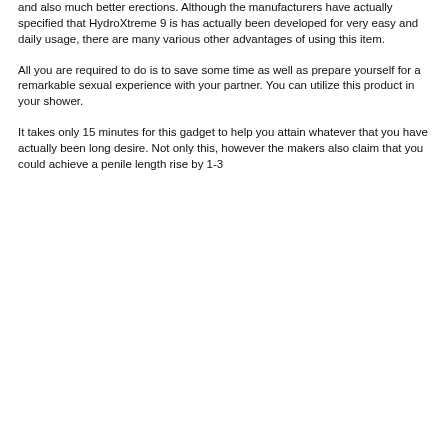and also much better erections. Although the manufacturers have actually specified that HydroXtreme 9 is has actually been developed for very easy and daily usage, there are many various other advantages of using this item.
All you are required to do is to save some time as well as prepare yourself for a remarkable sexual experience with your partner. You can utilize this product in your shower.
It takes only 15 minutes for this gadget to help you attain whatever that you have actually been long desire. Not only this, however the makers also claim that you could achieve a penile length rise by 1-3